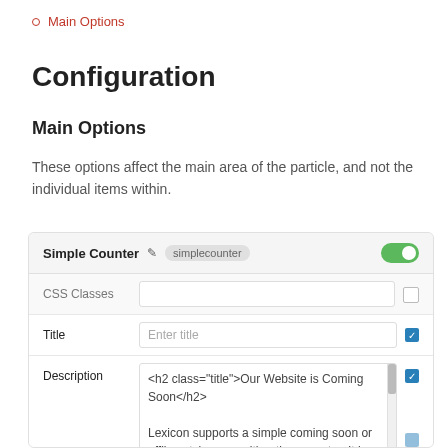Main Options
Configuration
Main Options
These options affect the main area of the particle, and not the individual items within.
[Figure (screenshot): UI panel showing configuration fields: Simple Counter (with simplecounter badge and green toggle on), CSS Classes (empty input, unchecked checkbox), Title (Enter title input, checked blue checkbox), Description (textarea with HTML content and text, checked blue checkbox, scrollbar visible)]